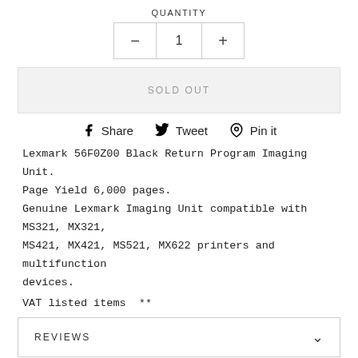QUANTITY
[Figure (other): Quantity selector with minus button, number 1, and plus button in a bordered box]
SOLD OUT
Share  Tweet  Pin it
Lexmark 56F0Z00 Black Return Program Imaging Unit. Page Yield 6,000 pages. Genuine Lexmark Imaging Unit compatible with MS321, MX321, MS421, MX421, MS521, MX622 printers and multifunction devices.

VAT listed items  **
REVIEWS